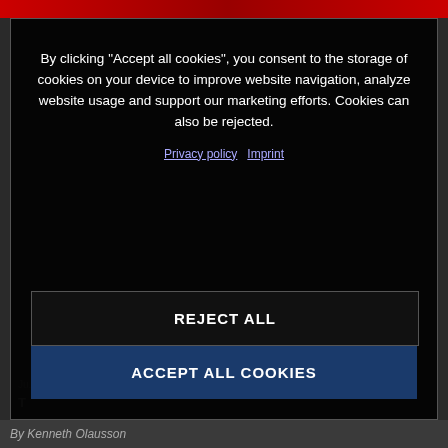[Figure (screenshot): Cookie consent modal overlay on a dark webpage. The modal contains cookie consent text, Privacy policy and Imprint links, a REJECT ALL button, and an ACCEPT ALL COOKIES button. Behind the modal is a dark-themed article page with faint content visible.]
By clicking “Accept all cookies”, you consent to the storage of cookies on your device to improve website navigation, analyze website usage and support our marketing efforts. Cookies can also be rejected.
Privacy policy  Imprint
REJECT ALL
ACCEPT ALL COOKIES
By Kenneth Olausson